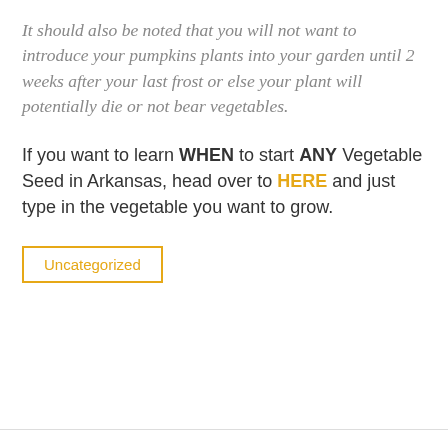It should also be noted that you will not want to introduce your pumpkins plants into your garden until 2 weeks after your last frost or else your plant will potentially die or not bear vegetables.
If you want to learn WHEN to start ANY Vegetable Seed in Arkansas, head over to HERE and just type in the vegetable you want to grow.
Uncategorized